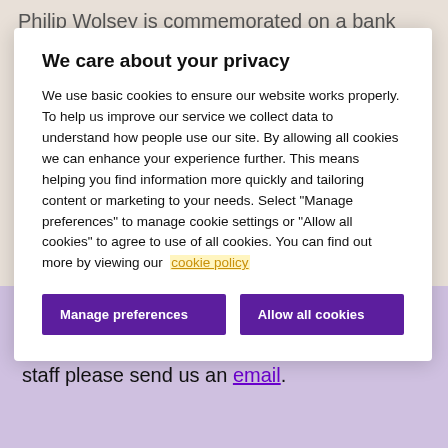Philip Wolsey is commemorated on a bank war
We care about your privacy
We use basic cookies to ensure our website works properly. To help us improve our service we collect data to understand how people use our site. By allowing all cookies we can enhance your experience further. This means helping you find information more quickly and tailoring content or marketing to your needs. Select "Manage preferences" to manage cookie settings or "Allow all cookies" to agree to use of all cookies. You can find out more by viewing our cookie policy
If you want to leave a message of remembrance for this fallen member of our staff please send us an email.